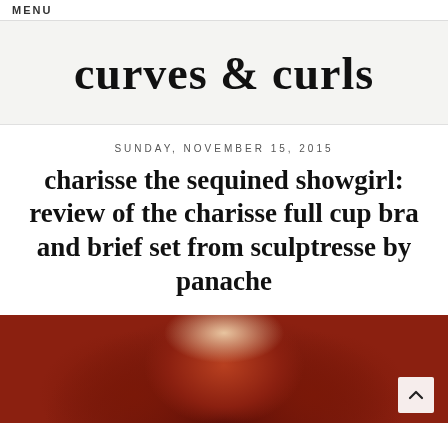MENU
curves & curls
SUNDAY, NOVEMBER 15, 2015
charisse the sequined showgirl: review of the charisse full cup bra and brief set from sculptresse by panache
[Figure (photo): Photo of a person with red curly hair]